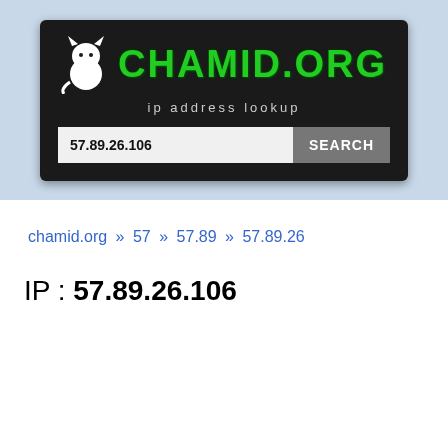[Figure (logo): chamid.org logo with cat icon and green pixel-style text, subtitle 'ip address lookup', and a search bar showing '57.89.26.106' with a SEARCH button]
chamid.org » 57 » 57.89 » 57.89.26
IP : 57.89.26.106